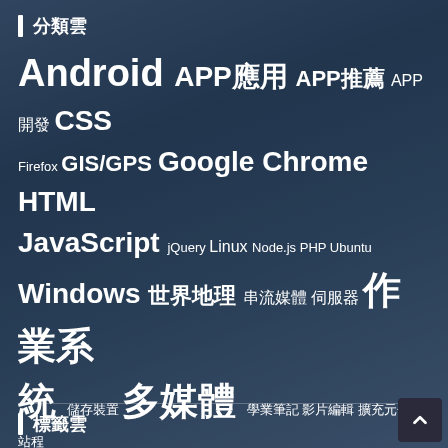分類雲
[Figure (infographic): Tag cloud with Chinese and English technology category tags of varying sizes, displayed on a mountain landscape background. Tags include: Android, APP應用, APP推薦, APP開發, CSS, Firefox, GIS/GPS, Google, Chrome, HTML, JavaScript, jQuery, Linux, Node.js, PHP, Ubuntu, Windows, 世界地理, 串流媒體, 伺服器, 作業系統, 儲存裝置, 多媒體, 學業筆記, 影片編輯, 擴充元件, 架站程式, 瀏覽器, 生活用品, 生活相關, 硬體週邊, 程式設計, 網站技術, 網路應用, 行動平台, 行動裝置, 語文領域, 資料庫, 資訊安全, 資訊新聞, 軟體介紹, 軟體應用, 開箱開盒, 電子DIY, 靜圖處理, 音訊處理]
標籤雲